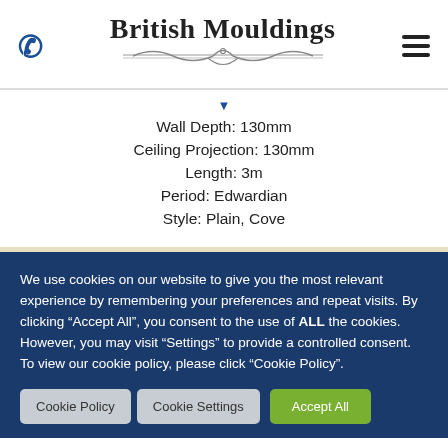[Figure (logo): British Mouldings logo with decorative serif text and ornamental swirl divider]
Wall Depth: 130mm
Ceiling Projection: 130mm
Length: 3m
Period: Edwardian
Style: Plain, Cove
We use cookies on our website to give you the most relevant experience by remembering your preferences and repeat visits. By clicking “Accept All”, you consent to the use of ALL the cookies. However, you may visit “Settings” to provide a controlled consent. To view our cookie policy, please click “Cookie Policy”.
Cookie Policy   Cookie Settings   Accept All